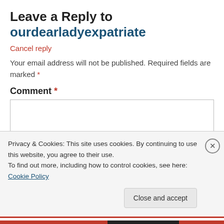Leave a Reply to ourdearladyexpatriate
Cancel reply
Your email address will not be published. Required fields are marked *
Comment *
Privacy & Cookies: This site uses cookies. By continuing to use this website, you agree to their use.
To find out more, including how to control cookies, see here: Cookie Policy
Close and accept